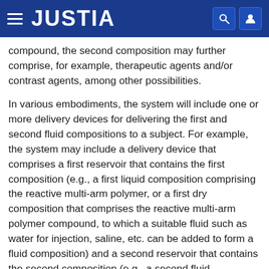JUSTIA
compound, the second composition may further comprise, for example, therapeutic agents and/or contrast agents, among other possibilities.
In various embodiments, the system will include one or more delivery devices for delivering the first and second fluid compositions to a subject. For example, the system may include a delivery device that comprises a first reservoir that contains the first composition (e.g., a first liquid composition comprising the reactive multi-arm polymer, or a first dry composition that comprises the reactive multi-arm polymer compound, to which a suitable fluid such as water for injection, saline, etc. can be added to form a fluid composition) and a second reservoir that contains the second composition (e.g., a second fluid composition comprising the multifunctional compound, or a second dry composition that comprises the multifunctional compound, to which a suitable fluid